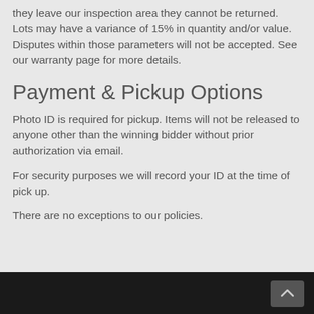they leave our inspection area they cannot be returned. Lots may have a variance of 15% in quantity and/or value. Disputes within those parameters will not be accepted. See our warranty page for more details.
Payment & Pickup Options
Photo ID is required for pickup. Items will not be released to anyone other than the winning bidder without prior authorization via email.
For security purposes we will record your ID at the time of pick up.
There are no exceptions to our policies.